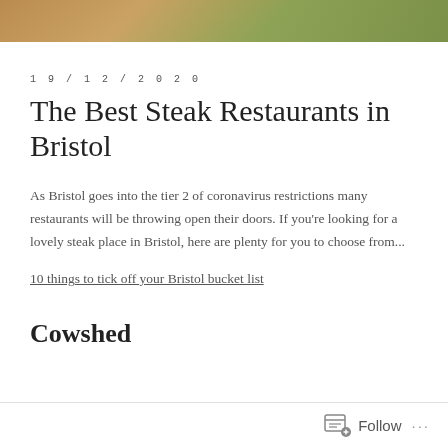[Figure (photo): Food photo strip at top of page showing cooked steak or similar food item]
19/12/2020
The Best Steak Restaurants in Bristol
As Bristol goes into the tier 2 of coronavirus restrictions many restaurants will be throwing open their doors. If you're looking for a lovely steak place in Bristol, here are plenty for you to choose from...
10 things to tick off your Bristol bucket list
Cowshed